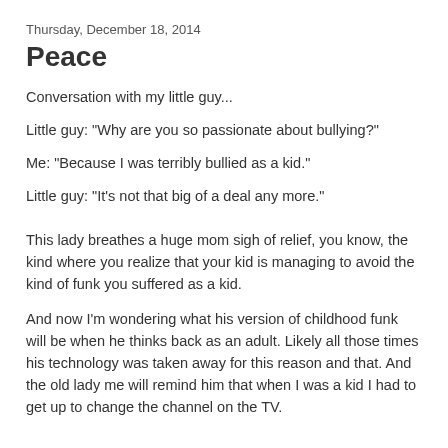Thursday, December 18, 2014
Peace
Conversation with my little guy...
Little guy: "Why are you so passionate about bullying?"
Me: "Because I was terribly bullied as a kid."
Little guy: "It's not that big of a deal any more."
This lady breathes a huge mom sigh of relief, you know, the kind where you realize that your kid is managing to avoid the kind of funk you suffered as a kid.
And now I'm wondering what his version of childhood funk will be when he thinks back as an adult. Likely all those times his technology was taken away for this reason and that. And the old lady me will remind him that when I was a kid I had to get up to change the channel on the TV.